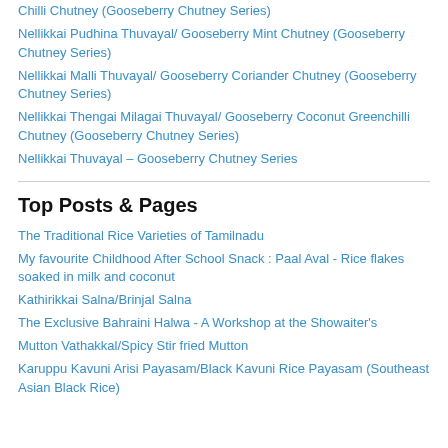Chilli Chutney (Gooseberry Chutney Series)
Nellikkai Pudhina Thuvayal/ Gooseberry Mint Chutney (Gooseberry Chutney Series)
Nellikkai Malli Thuvayal/ Gooseberry Coriander Chutney (Gooseberry Chutney Series)
Nellikkai Thengai Milagai Thuvayal/ Gooseberry Coconut Greenchilli Chutney (Gooseberry Chutney Series)
Nellikkai Thuvayal – Gooseberry Chutney Series
Top Posts & Pages
The Traditional Rice Varieties of Tamilnadu
My favourite Childhood After School Snack : Paal Aval - Rice flakes soaked in milk and coconut
Kathirikkai Salna/Brinjal Salna
The Exclusive Bahraini Halwa - A Workshop at the Showaiter's
Mutton Vathakkal/Spicy Stir fried Mutton
Karuppu Kavuni Arisi Payasam/Black Kavuni Rice Payasam (Southeast Asian Black Rice)